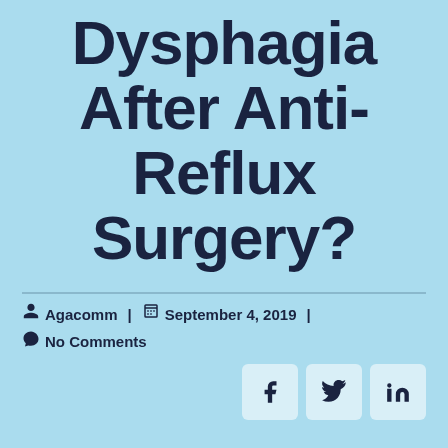Dysphagia After Anti-Reflux Surgery?
Agacomm | September 4, 2019 | No Comments
[Figure (other): Social media share buttons: Facebook, Twitter, LinkedIn]